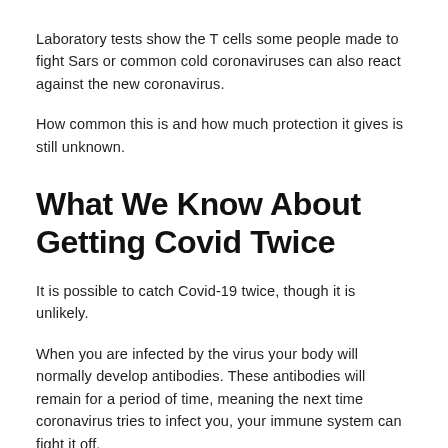Laboratory tests show the T cells some people made to fight Sars or common cold coronaviruses can also react against the new coronavirus.
How common this is and how much protection it gives is still unknown.
What We Know About Getting Covid Twice
It is possible to catch Covid-19 twice, though it is unlikely.
When you are infected by the virus your body will normally develop antibodies. These antibodies will remain for a period of time, meaning the next time coronavirus tries to infect you, your immune system can fight it off.